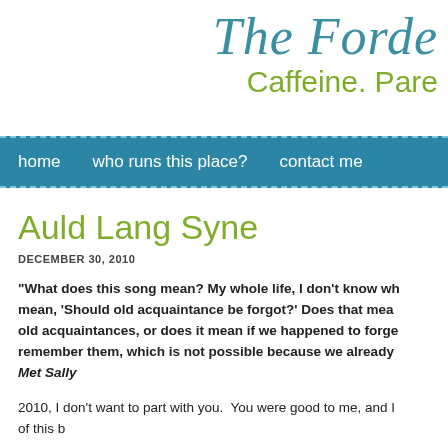The Forde... Caffeine. Pare...
home   who runs this place?   contact me
Auld Lang Syne
DECEMBER 30, 2010
“What does this song mean? My whole life, I don’t know wh... mean, ‘Should old acquaintance be forgot?’ Does that mea... old acquaintances, or does it mean if we happened to forge... remember them, which is not possible because we already... Met Sally
2010, I don’t want to part with you.  You were good to me, and I... ...of this b...